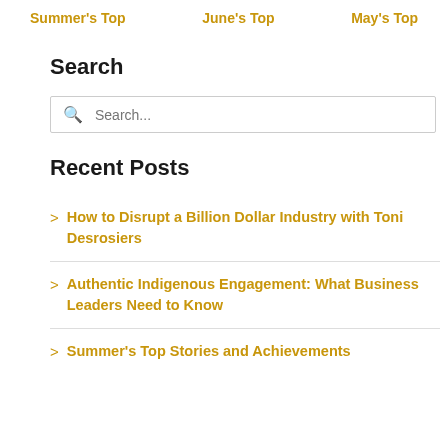Summer's Top   June's Top   May's Top
Search
Search...
Recent Posts
How to Disrupt a Billion Dollar Industry with Toni Desrosiers
Authentic Indigenous Engagement: What Business Leaders Need to Know
Summer's Top Stories and Achievements